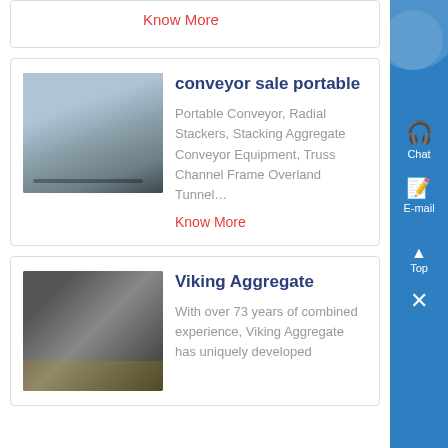Know More
conveyor sale portable
[Figure (photo): Outdoor industrial conveyor/rail yard scene with equipment and tracks under open sky]
Portable Conveyor, Radial Stackers, Stacking Aggregate Conveyor Equipment, Truss Channel Frame Overland Tunnel…
Know More
Viking Aggregate
[Figure (photo): Indoor industrial manufacturing facility with large machinery, scaffolding and yellow structural elements]
With over 73 years of combined experience, Viking Aggregate has uniquely developed